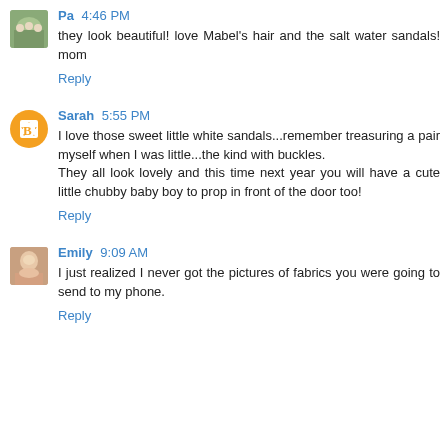Pa 4:46 PM
they look beautiful! love Mabel's hair and the salt water sandals! mom
Reply
Sarah 5:55 PM
I love those sweet little white sandals...remember treasuring a pair myself when I was little...the kind with buckles.
They all look lovely and this time next year you will have a cute little chubby baby boy to prop in front of the door too!
Reply
Emily 9:09 AM
I just realized I never got the pictures of fabrics you were going to send to my phone.
Reply